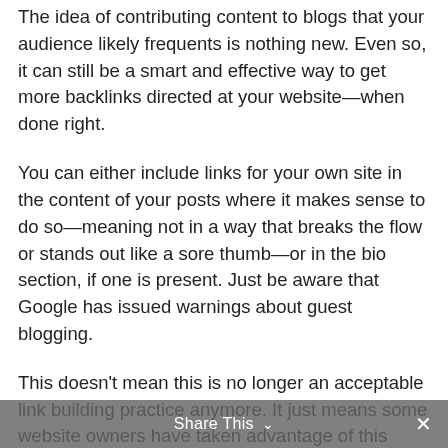The idea of contributing content to blogs that your audience likely frequents is nothing new. Even so, it can still be a smart and effective way to get more backlinks directed at your website—when done right.
You can either include links for your own site in the content of your posts where it makes sense to do so—meaning not in a way that breaks the flow or stands out like a sore thumb—or in the bio section, if one is present. Just be aware that Google has issued warnings about guest blogging.
This doesn't mean this is no longer an acceptable link building practice anymore. It just means some website owners have taken advantage of this practice in an effort to fill search engine bots with totally useless, poorly written content. Google is now on to this practice, so it's less effective in some situations.
Share This ∨  ✕